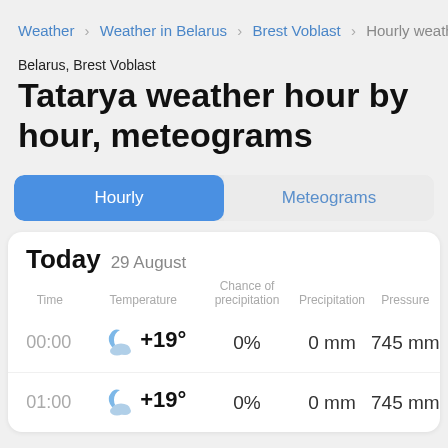Weather > Weather in Belarus > Brest Voblast > Hourly weather
Belarus, Brest Voblast
Tatarya weather hour by hour, meteograms
| Time | Temperature | Chance of precipitation | Precipitation | Pressure |
| --- | --- | --- | --- | --- |
| 00:00 | +19° | 0% | 0 mm | 745 mm |
| 01:00 | +19° | 0% | 0 mm | 745 mm |